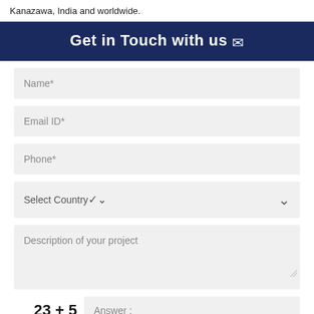Kanazawa, India and worldwide.
Get in Touch with us ✉
Name*
Email ID*
Phone*
Select Country
Description of your project
Answer :
SUBMIT